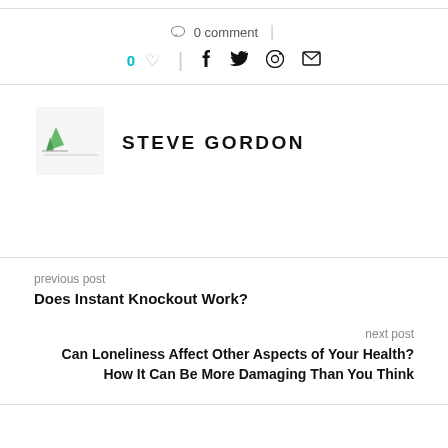[Figure (infographic): Comment count (0 comment), like count (0 with heart icon), and social sharing icons (Facebook, Twitter, Pinterest, Email)]
[Figure (illustration): Author avatar thumbnail with green arrow/pen logo icon and horizontal line beneath]
STEVE GORDON
previous post
Does Instant Knockout Work?
next post
Can Loneliness Affect Other Aspects of Your Health? How It Can Be More Damaging Than You Think